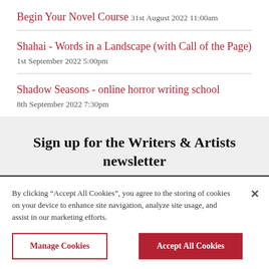Begin Your Novel Course
31st August 2022 11:00am
Shahai - Words in a Landscape (with Call of the Page)
1st September 2022 5:00pm
Shadow Seasons - online horror writing school
8th September 2022 7:30pm
Sign up for the Writers & Artists newsletter
By clicking “Accept All Cookies”, you agree to the storing of cookies on your device to enhance site navigation, analyze site usage, and assist in our marketing efforts.
Manage Cookies
Accept All Cookies